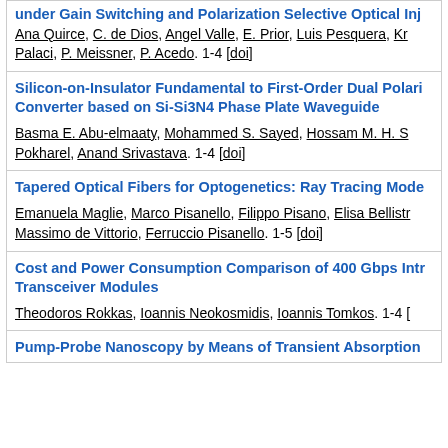under Gain Switching and Polarization Selective Optical Inj…
Ana Quirce, C. de Dios, Angel Valle, E. Prior, Luis Pesquera, Kr… Palaci, P. Meissner, P. Acedo. 1-4 [doi]
Silicon-on-Insulator Fundamental to First-Order Dual Polari… Converter based on Si-Si3N4 Phase Plate Waveguide
Basma E. Abu-elmaaty, Mohammed S. Sayed, Hossam M. H. S… Pokharel, Anand Srivastava. 1-4 [doi]
Tapered Optical Fibers for Optogenetics: Ray Tracing Mode…
Emanuela Maglie, Marco Pisanello, Filippo Pisano, Elisa Bellistr… Massimo de Vittorio, Ferruccio Pisanello. 1-5 [doi]
Cost and Power Consumption Comparison of 400 Gbps Intr… Transceiver Modules
Theodoros Rokkas, Ioannis Neokosmidis, Ioannis Tomkos. 1-4 […
Pump-Probe Nanoscopy by Means of Transient Absorption…